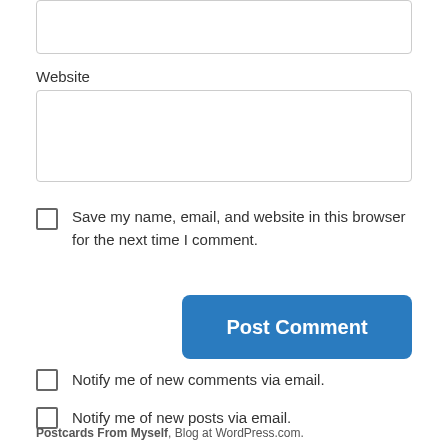Website
Save my name, email, and website in this browser for the next time I comment.
Post Comment
Notify me of new comments via email.
Notify me of new posts via email.
Postcards From Myself, Blog at WordPress.com.